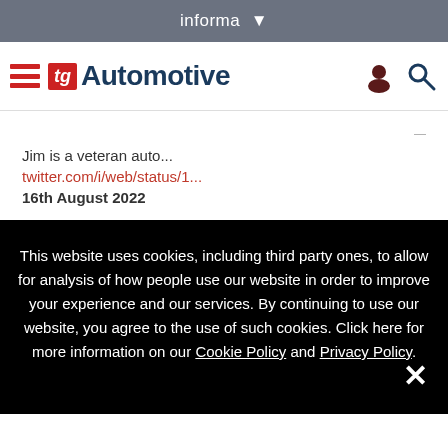informa
TG Automotive
Jim is a veteran auto...
twitter.com/i/web/status/1...
16th August 2022
This website uses cookies, including third party ones, to allow for analysis of how people use our website in order to improve your experience and our services. By continuing to use our website, you agree to the use of such cookies. Click here for more information on our Cookie Policy and Privacy Policy.